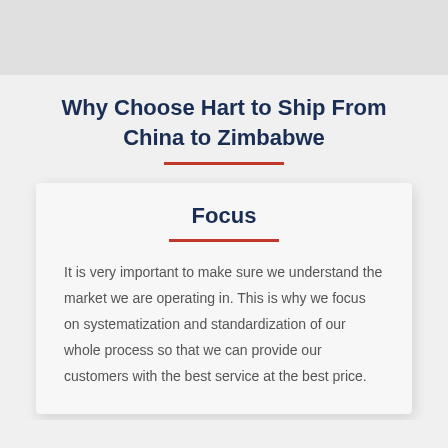[Figure (photo): Top banner image, partially visible, light grey background]
Why Choose Hart to Ship From China to Zimbabwe
Focus
It is very important to make sure we understand the market we are operating in. This is why we focus on systematization and standardization of our whole process so that we can provide our customers with the best service at the best price.